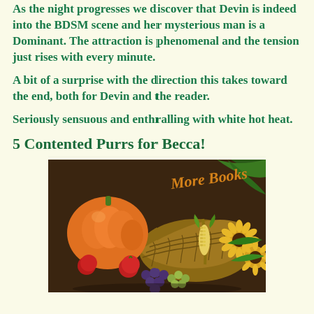As the night progresses we discover that Devin is indeed into the BDSM scene and her mysterious man is a Dominant. The attraction is phenomenal and the tension just rises with every minute.
A bit of a surprise with the direction this takes toward the end, both for Devin and the reader.
Seriously sensuous and enthralling with white hot heat.
5 Contented Purrs for Becca!
[Figure (photo): A cornucopia/harvest basket overflowing with fruits and vegetables including a large orange pumpkin, grapes, apples, corn, and sunflowers, with cursive text reading 'More Books' in the upper right area, on a dark brown background.]